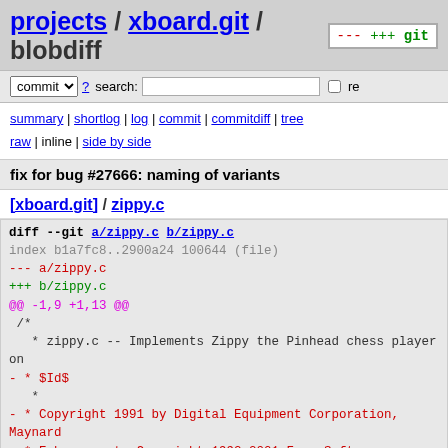projects / xboard.git / blobdiff
commit ? search:  re
summary | shortlog | log | commit | commitdiff | tree
raw | inline | side by side
fix for bug #27666: naming of variants
[xboard.git] / zippy.c
[Figure (screenshot): Git diff output showing changes to zippy.c file. Diff header lines, removed and added lines shown in red/green.]